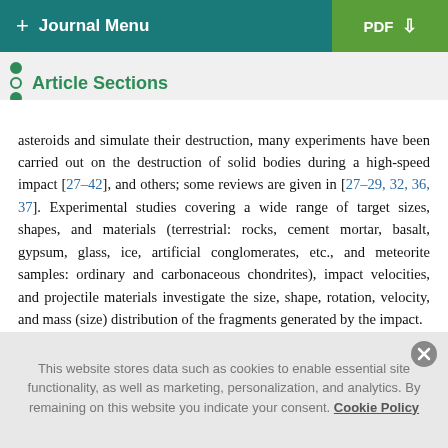+ Journal Menu  PDF ↓
Article Sections
asteroids and simulate their destruction, many experiments have been carried out on the destruction of solid bodies during a high-speed impact [27–42], and others; some reviews are given in [27–29, 32, 36, 37]. Experimental studies covering a wide range of target sizes, shapes, and materials (terrestrial: rocks, cement mortar, basalt, gypsum, glass, ice, artificial conglomerates, etc., and meteorite samples: ordinary and carbonaceous chondrites), impact velocities, and projectile materials investigate the size, shape, rotation, velocity, and mass (size) distribution of the fragments generated by the impact.
This website stores data such as cookies to enable essential site functionality, as well as marketing, personalization, and analytics. By remaining on this website you indicate your consent. Cookie Policy